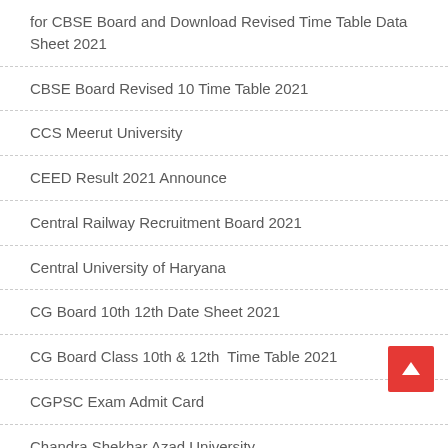for CBSE Board and Download Revised Time Table Data Sheet 2021
CBSE Board Revised 10 Time Table 2021
CCS Meerut University
CEED Result 2021 Announce
Central Railway Recruitment Board 2021
Central University of Haryana
CG Board 10th 12th Date Sheet 2021
CG Board Class 10th & 12th  Time Table 2021
CGPSC Exam Admit Card
Chandra Shekhar Azad University
Chhattisgarh Board
Chhattisgarh Swami Vivekanand Technical University